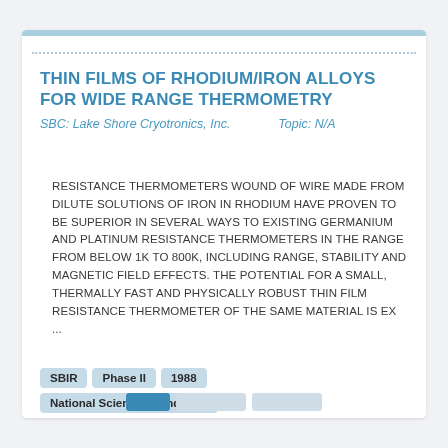THIN FILMS OF RHODIUM/IRON ALLOYS FOR WIDE RANGE THERMOMETRY
SBC: Lake Shore Cryotronics, Inc.   Topic: N/A
RESISTANCE THERMOMETERS WOUND OF WIRE MADE FROM DILUTE SOLUTIONS OF IRON IN RHODIUM HAVE PROVEN TO BE SUPERIOR IN SEVERAL WAYS TO EXISTING GERMANIUM AND PLATINUM RESISTANCE THERMOMETERS IN THE RANGE FROM BELOW 1K TO 800K, INCLUDING RANGE, STABILITY AND MAGNETIC FIELD EFFECTS. THE POTENTIAL FOR A SMALL, THERMALLY FAST AND PHYSICALLY ROBUST THIN FILM RESISTANCE THERMOMETER OF THE SAME MATERIAL IS EX ...
SBIR
Phase II
1988
National Science Foundation